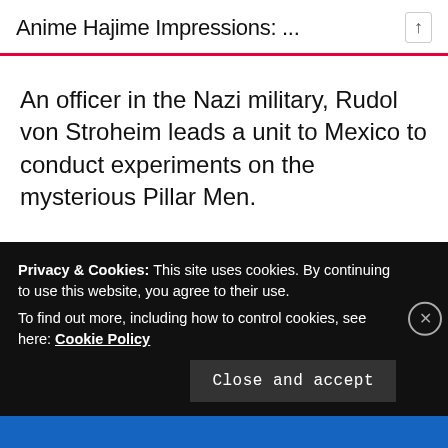Anime Hajime Impressions: ...
An officer in the Nazi military, Rudol von Stroheim leads a unit to Mexico to conduct experiments on the mysterious Pillar Men.
· · ·
Advertisements
Professionally designed sites in less than a week
Privacy & Cookies: This site uses cookies. By continuing to use this website, you agree to their use.
To find out more, including how to control cookies, see here: Cookie Policy
Close and accept